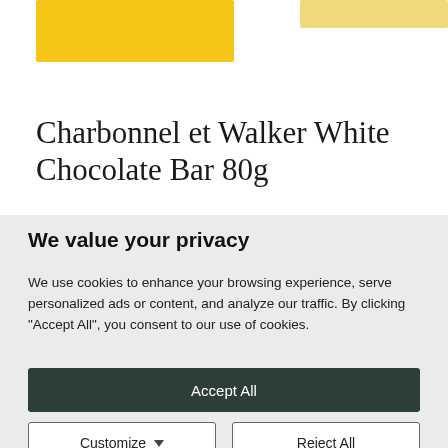[Figure (photo): Top portion of two product images — a yellow chocolate bar box (left) and a lighter yellow/cream colored chocolate bar box (right), partially cropped at top of page.]
Charbonnel et Walker White Chocolate Bar 80g
We value your privacy
We use cookies to enhance your browsing experience, serve personalized ads or content, and analyze our traffic. By clicking "Accept All", you consent to our use of cookies.
Accept All
Customize
Reject All